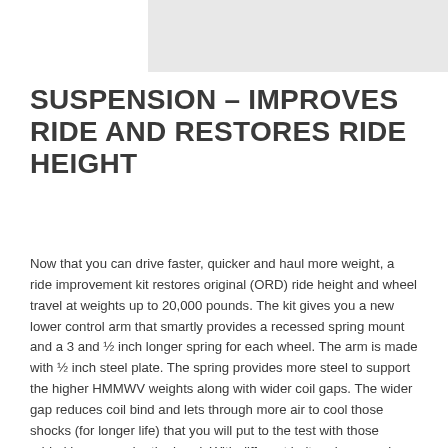[Figure (photo): Partial image visible at top of page, light gray rectangle representing cropped photo]
SUSPENSION – IMPROVES RIDE AND RESTORES RIDE HEIGHT
Now that you can drive faster, quicker and haul more weight, a ride improvement kit restores original (ORD) ride height and wheel travel at weights up to 20,000 pounds. The kit gives you a new lower control arm that smartly provides a recessed spring mount and a 3 and ½ inch longer spring for each wheel. The arm is made with ½ inch steel plate. The spring provides more steel to support the higher HMMWV weights along with wider coil gaps. The wider gap reduces coil bind and lets through more air to cool those shocks (for longer life) that you will put to the test with those added horses under the hood. With different bolt-on lower spring mounts you can reuse existing shocks, install our adjustable shock kit or install the shock of your choice. The new control arms mount right to the HMMWV.